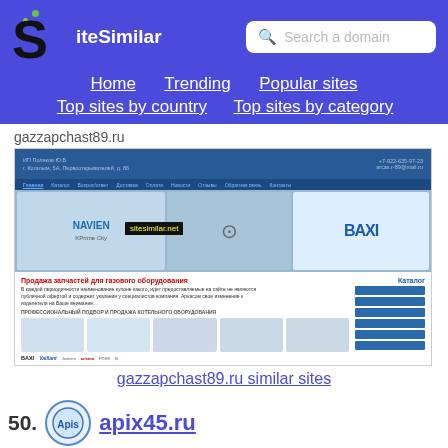SiteSimilar — Search a domain — Home | Trending | Popular sites | Top sites by country | Top sites by category
gazzapchast89.ru
[Figure (screenshot): Screenshot of gazzapchast89.ru — a Russian gas equipment parts sales site (ИП Поляков Ю.Б.) showing NAVIEN, BAXI brands with sitesimilar.net watermark]
gazzapchast89.ru similar sites
50. apix45.ru